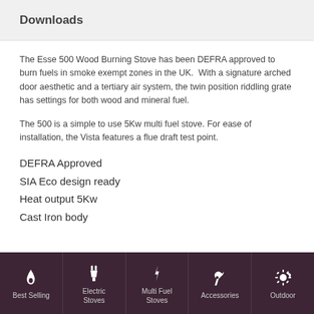Downloads
The Esse 500 Wood Burning Stove has been DEFRA approved to burn fuels in smoke exempt zones in the UK.  With a signature arched door aesthetic and a tertiary air system, the twin position riddling grate has settings for both wood and mineral fuel.
The 500 is a simple to use 5Kw multi fuel stove. For ease of installation, the Vista features a flue draft test point.
DEFRA Approved
SIA Eco design ready
Heat output 5Kw
Cast Iron body
Best Selling | Electric Stoves | Multi Fuel Stoves | Accessories | Outdoor